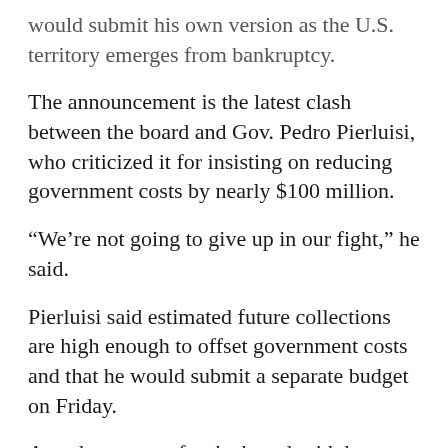would submit his own version as the U.S. territory emerges from bankruptcy.
The announcement is the latest clash between the board and Gov. Pedro Pierluisi, who criticized it for insisting on reducing government costs by nearly $100 million.
“We’re not going to give up in our fight,” he said.
Pierluisi said estimated future collections are high enough to offset government costs and that he would submit a separate budget on Friday.
A spokeswoman for the board said there would be no immediate reaction.
The budget that the board submitted to legislators